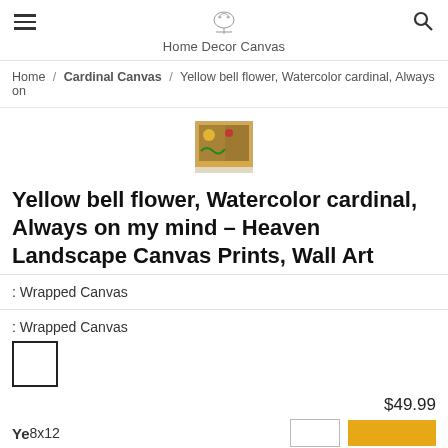Home Decor Canvas
Home / Cardinal Canvas / Yellow bell flower, Watercolor cardinal, Always on
[Figure (photo): Small thumbnail image of a canvas print showing yellow bell flowers and a cardinal bird]
Yellow bell flower, Watercolor cardinal, Always on my mind – Heaven Landscape Canvas Prints, Wall Art
: Wrapped Canvas
: Wrapped Canvas
$49.99
Ye 8x12